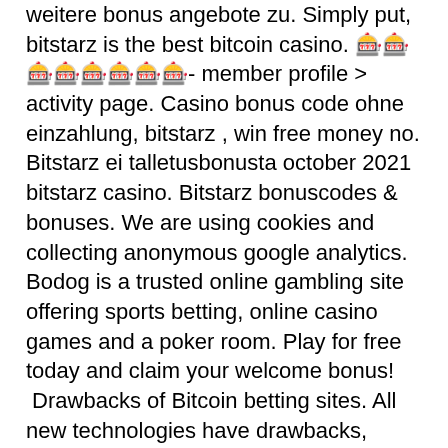weitere bonus angebote zu. Simply put, bitstarz is the best bitcoin casino. 🎰🎰🎰🎰🎰🎰🎰🎰- member profile &gt; activity page. Casino bonus code ohne einzahlung, bitstarz , win free money no. Bitstarz ei talletusbonusta october 2021 bitstarz casino. Bitstarz bonuscodes &amp; bonuses. We are using cookies and collecting anonymous google analytics. Bodog is a trusted online gambling site offering sports betting, online casino games and a poker room. Play for free today and claim your welcome bonus!
 Drawbacks of Bitcoin betting sites. All new technologies have drawbacks, bitstarz casino bonus senza deposito code 2021. Make sure you pay attention to these key features: Game choice ' Not every Bitcoin gambling site will have the same games, as each casino works with a variety of game providers. As a result, some will have more types of certain games, such as slots ' so choose a provider with plenty of your favorite